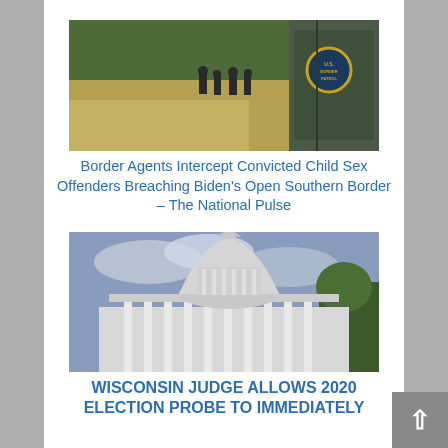[Figure (photo): A US Border Patrol agent in green uniform with patch visible in foreground, migrants and field in background]
Border Agents Intercept Convicted Child Sex Offenders Breaching Biden’s Open Southern Border – The National Pulse
[Figure (photo): A white domed government capitol building with columns, cloudy sky, trees visible on right]
WISCONSIN JUDGE ALLOWS 2020 ELECTION PROBE TO IMMEDIATELY